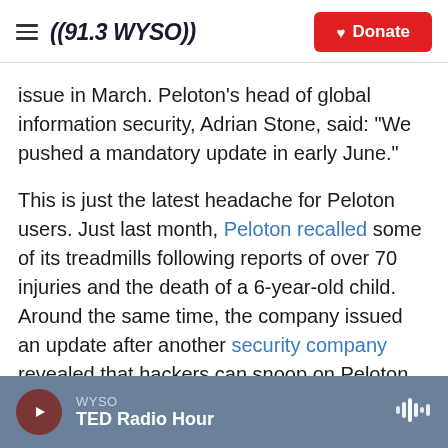((91.3 WYSO)) Donate
issue in March. Peloton's head of global information security, Adrian Stone, said: "We pushed a mandatory update in early June."
This is just the latest headache for Peloton users. Just last month, Peloton recalled some of its treadmills following reports of over 70 injuries and the death of a 6-year-old child. Around the same time, the company issued an update after another security company revealed that hackers can snoop on Peloton users and find out their age, gender, location and even workout stats.
WYSO TED Radio Hour